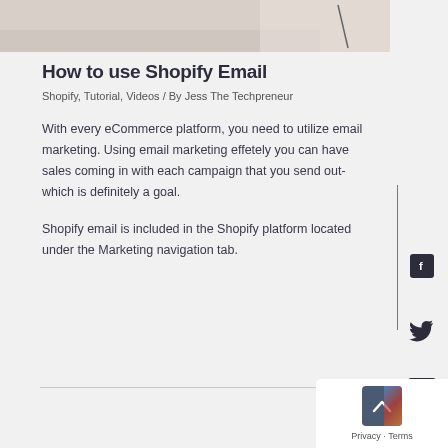[Figure (photo): Partial image at top of page showing a desk or workspace scene with light beige/neutral tones]
How to use Shopify Email
Shopify, Tutorial, Videos / By Jess The Techpreneur
With every eCommerce platform, you need to utilize email marketing. Using email marketing effetely you can have sales coming in with each campaign that you send out- which is definitely a goal.
Shopify email is included in the Shopify platform located under the Marketing navigation tab.